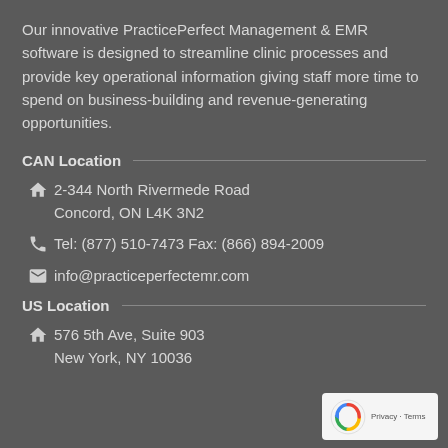Our innovative PracticePerfect Management & EMR software is designed to streamline clinic processes and provide key operational information giving staff more time to spend on business-building and revenue-generating opportunities.
CAN Location
2-344 North Rivermede Road
Concord, ON L4K 3N2
Tel: (877) 510-7473 Fax: (866) 894-2009
info@practiceperfectemr.com
US Location
576 5th Ave, Suite 903
New York, NY 10036
[Figure (logo): reCAPTCHA badge with Privacy and Terms text]